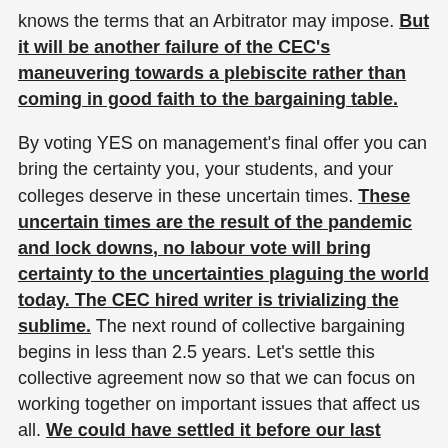knows the terms that an Arbitrator may impose. But it will be another failure of the CEC's maneuvering towards a plebiscite rather than coming in good faith to the bargaining table.
By voting YES on management's final offer you can bring the certainty you, your students, and your colleges deserve in these uncertain times. These uncertain times are the result of the pandemic and lock downs, no labour vote will bring certainty to the uncertainties plaguing the world today. The CEC hired writer is trivializing the sublime. The next round of collective bargaining begins in less than 2.5 years. Let's settle this collective agreement now so that we can focus on working together on important issues that affect us all. We could have settled it before our last contract expired last September if the CEC did not stall, delay and equivocate the issues – as they continue to do.